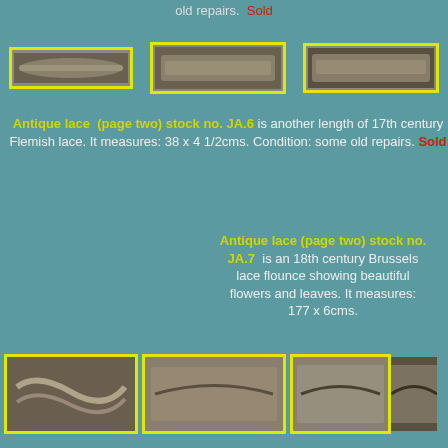old repairs.  Sold
[Figure (photo): Three close-up photos of antique Flemish lace strips with yellow borders]
Antique lace (page two) stock no. JA.6 is another length of 17th century Flemish lace. It measures: 38 x 4 1/2cms. Condition: some old repairs. Sold
Antique lace (page two) stock no. JA.7 is an 18th century Brussels lace flounce showing beautiful flowers and leaves. It measures: 177 x 6cms.
[Figure (photo): Four photos of antique Brussels lace flounce pieces with yellow borders]